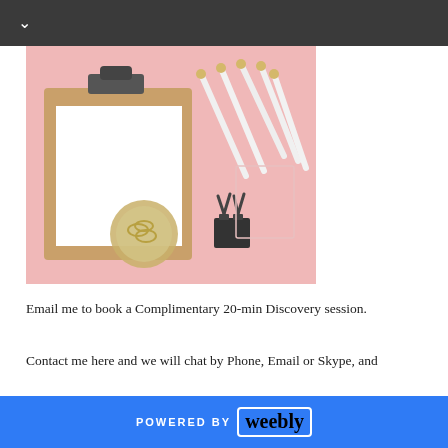[Figure (photo): Pink background flatlay with a wooden clipboard holding a blank white sheet, scattered white and gold pencils, a small dish of gold paper clips, and a black binder clip]
Email me to book a Complimentary 20-min Discovery session.
Contact me here and we will chat by Phone, Email or Skype, and
POWERED BY weebly